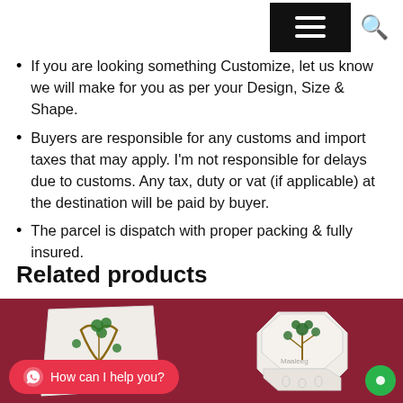[Hamburger menu and search icon]
If you are looking something Customize, let us know we will make for you as per your Design, Size & Shape.
Buyers are responsible for any customs and import taxes that may apply. I'm not responsible for delays due to customs. Any tax, duty or vat (if applicable) at the destination will be paid by buyer.
The parcel is dispatch with proper packing & fully insured.
Related products
[Figure (photo): Left: White marble decorative tile with green and brown floral inlay design on red/maroon background]
[Figure (photo): Right: White marble octagonal box with green tree/flower inlay design on red/maroon background, with watermark 'Maaleeg']